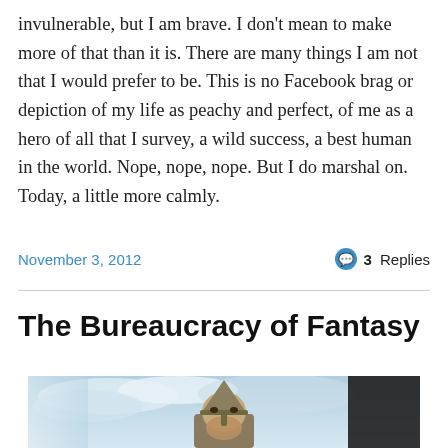invulnerable, but I am brave. I don’t mean to make more of that than it is. There are many things I am not that I would prefer to be. This is no Facebook brag or depiction of my life as peachy and perfect, of me as a hero of all that I survey, a wild success, a best human in the world. Nope, nope, nope. But I do marshal on. Today, a little more calmly.
November 3, 2012
3 Replies
The Bureaucracy of Fantasy
[Figure (illustration): Painting-style illustration of a viking or medieval warrior wearing a conical metal helmet, with beard visible, set against a cloudy sky background. A dark figure is partially visible on the right edge.]